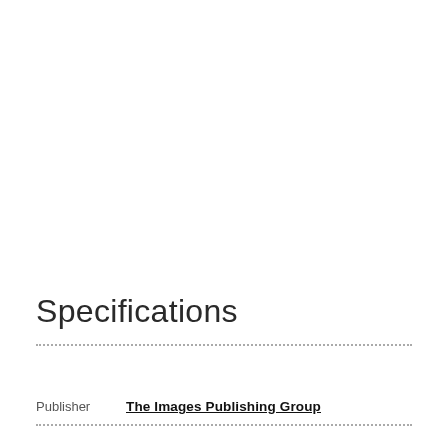Specifications
Publisher	The Images Publishing Group